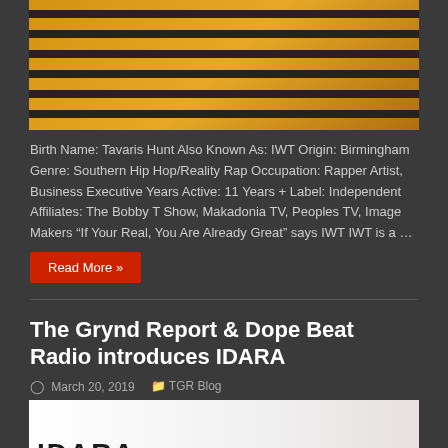[Figure (photo): Photo of a person wearing an orange and black striped shirt with arms crossed, in front of a colorful background]
Birth Name: Tavaris Hunt Also Known As: IWT Origin: Birmingham Genre: Southern Hip Hop/Reality Rap Occupation: Rapper Artist, Business Executive Years Active: 11 Years + Label: Independent Affiliates: The Bobby T Show, Makadonia TV, Peoples TV, Image Makers “If Your Real, You Are Already Great” says IWT IWT is a …
Read More »
The Grynd Report & Dope Beat Radio introduces IDARA
March 20, 2019   TGR Blog
[Figure (photo): Partial image showing IDARA logo text and a person in white clothing, with text GET THAT CHECK at the bottom]